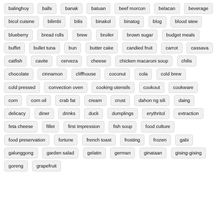balinghoy, balls, banak, batuan, beef morcon, belacan, beverage, bicol cuisine, bilimbi, bilis, binakol, binatog, blog, blood stew, blueberry, bread rolls, brew, broiler, brown sugar, budget meals, buffet, bullet tuna, bun, butter cake, candied fruit, carrot, cassava, catfish, cavite, cerveza, cheese, chicken macaroni soup, chilis, chocolate, cinnamon, cliffhouse, coconut, cola, cold brew, cold pressed, convection oven, cooking utensils, cookout, cookware, corn, corn oil, crab fat, cream, crust, dahon ng sili, daing, delicacy, diner, drinks, duck, dumplings, erythritol, extraction, feta cheese, fillet, first impression, fish soup, food culture, food preservation, fortune, french toast, frosting, frozen, gabi, galunggong, garden salad, gelatin, german, ginataan, gising-gising, goreng, grapefruit